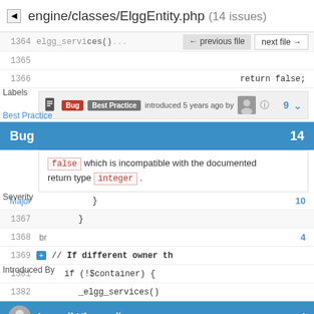engine/classes/ElggEntity.php (14 issues)
1364  elgg_services()...
1365  ← previous file  next file →
1366  return false;
Labels
Bug  Best Practice  introduced 5 years ago by  [avatar]  [info]  9
Bug  14
false which is incompatible with the documented return type integer .
Severity
Major  10
1367  }
1368br  4
1369  // If different owner th
1381  if (!$container) {
1382  _elgg_services()
Introduced By
Ismayil Khayredinov  4
Evan Winslow  3